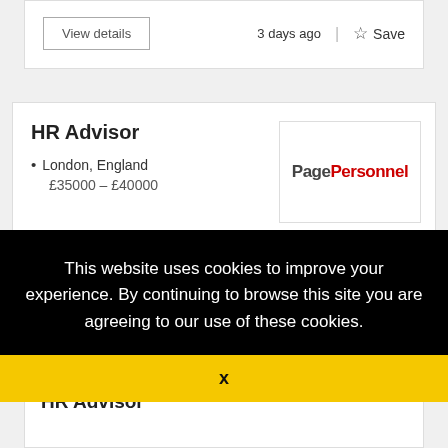View details | 3 days ago | Save
HR Advisor
London, England
£35000 – £40000
[Figure (logo): Page Personnel logo — 'Page' in dark grey and 'Personnel' in red]
This website uses cookies to improve your experience. By continuing to browse this site you are agreeing to our use of these cookies.
You can learn more about the cookies we use here.
x
HR Advisor